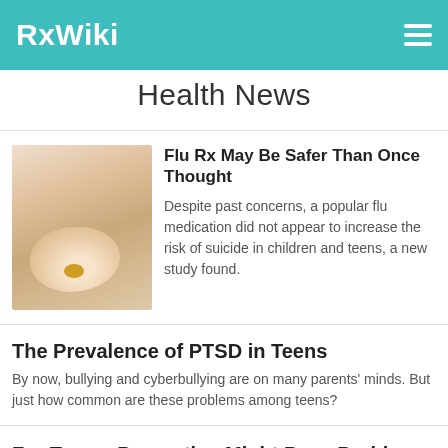RxWiki
Health News
Flu Rx May Be Safer Than Once Thought
Despite past concerns, a popular flu medication did not appear to increase the risk of suicide in children and teens, a new study found.
The Prevalence of PTSD in Teens
By now, bullying and cyberbullying are on many parents' minds. But just how common are these problems among teens?
For Teens, Paroxetine Might Pose Problems